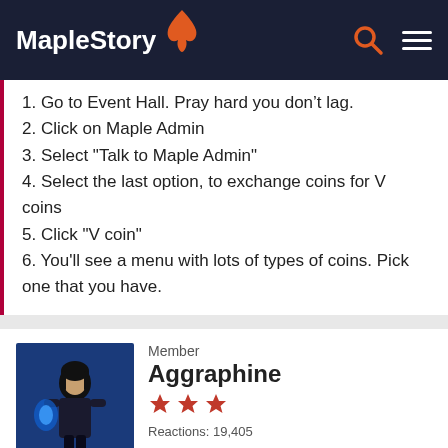MapleStory
1. Go to Event Hall. Pray hard you don't lag.
2. Click on Maple Admin
3. Select "Talk to Maple Admin"
4. Select the last option, to exchange coins for V coins
5. Click "V coin"
6. You'll see a menu with lots of types of coins. Pick one that you have.
Member
Aggraphine
Reactions: 19,405
Posts: 3,553
NOVEMBER 2016  EDITED NOVEMBER 2016
This coin exchange may actually be the cause of the extreme lag in there now. If you have none of the applicable coin types, you